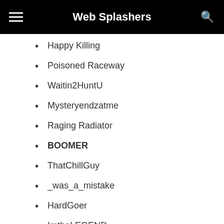Web Splashers
Happy Killing
Poisoned Raceway
Waitin2HuntU
Mysteryendzatme
Raging Radiator
BOOMER
ThatChillGuy
_was_a_mistake
HardGoer
ImtheLEGEND
D_GAME_NDR
PainDonor
Ants4ever